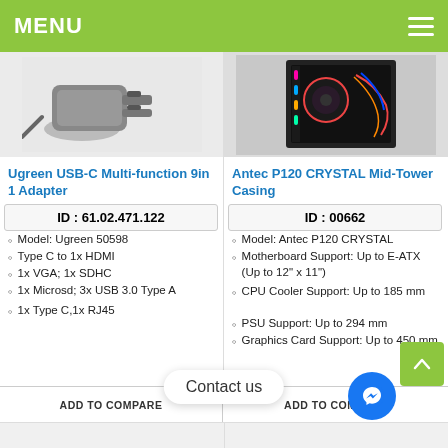MENU
[Figure (photo): Ugreen USB-C Multi-function 9in1 Adapter product image on light grey background]
[Figure (photo): Antec P120 CRYSTAL Mid-Tower Casing product image showing interior components with RGB lighting]
Ugreen USB-C Multi-function 9in1 Adapter
Antec P120 CRYSTAL Mid-Tower Casing
ID : 61.02.471.122
ID : 00662
Model: Ugreen 50598
Type C to 1x HDMI
1x VGA; 1x SDHC
1x Microsd; 3x USB 3.0 Type A
1x Type C,1x RJ45
Model: Antec P120 CRYSTAL
Motherboard Support: Up to E-ATX (Up to 12" x 11")
CPU Cooler Support: Up to 185 mm
PSU Support: Up to 294 mm
Graphics Card Support: Up to 450 mm
ADD TO COMPARE
ADD TO COMPARE
Contact us